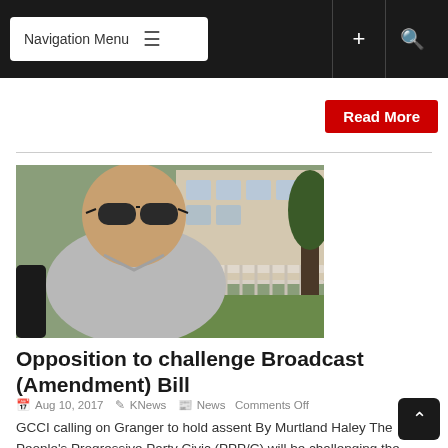Navigation Menu
Read More
[Figure (photo): A man wearing sunglasses and a grey polo shirt standing outdoors near a building with white railings and a tree in the background.]
Opposition to challenge Broadcast (Amendment) Bill
Aug 10, 2017  KNews  News  Comments Off
GCCI calling on Granger to hold assent By Murtland Haley The People's Progressive Party Civic (PPP/C) will be challenging the Broadcast (Amendment) Bill in the law courts. This was